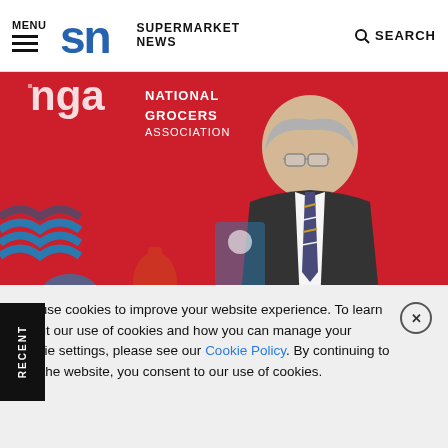MENU | SN SUPERMARKET NEWS | SEARCH
[Figure (photo): Man in dark suit and striped tie speaking at NGA (National Grocers Association) event, red background with NGA logo visible]
WG's David Smith told senators at the hearing, '"These retailers use their control over the market to advantage themselves at the expense of everyone else.'
We use cookies to improve your website experience. To learn about our use of cookies and how you can manage your cookie settings, please see our Cookie Policy. By continuing to use the website, you consent to our use of cookies.